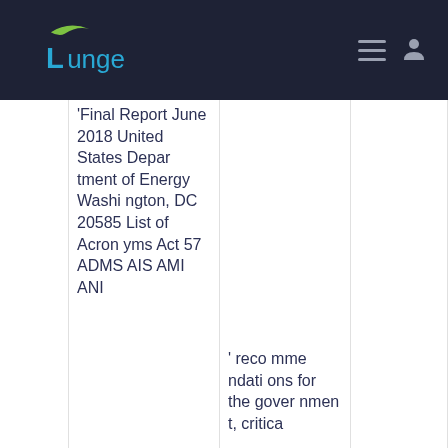Lunge — navigation header
Final Report June 2018 United States Department of Energy Washington, DC 20585 List of Acronyms Act 57 ADMS AIS AMI ANI
' recommendations for the government, critica